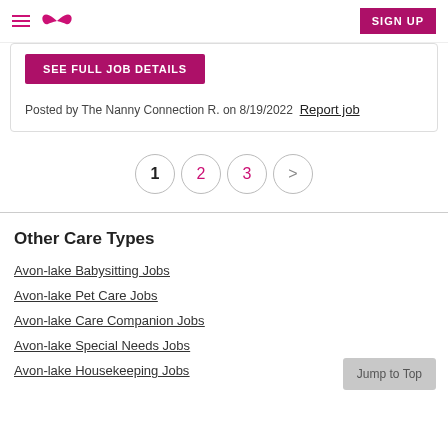Care.com header with hamburger menu, logo, and SIGN UP button
SEE FULL JOB DETAILS
Posted by The Nanny Connection R. on 8/19/2022   Report job
1  2  3  >
Other Care Types
Avon-lake Babysitting Jobs
Avon-lake Pet Care Jobs
Avon-lake Care Companion Jobs
Avon-lake Special Needs Jobs
Avon-lake Housekeeping Jobs
Jump to Top